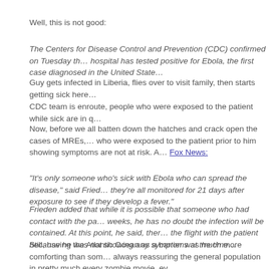Well, this is not good:
The Centers for Disease Control and Prevention (CDC) confirmed on Tuesday th… hospital has tested positive for Ebola, the first case diagnosed in the United State…
Guy gets infected in Liberia, flies over to visit family, then starts getting sick here…
CDC team is enroute, people who were exposed to the patient while sick are in q…
Now, before we all batten down the hatches and crack open the cases of MREs,… who were exposed to the patient prior to him showing symptoms are not at risk. A… Fox News:
“It’s only someone who’s sick with Ebola who can spread the disease,” said Fried… they’re all monitored for 21 days after exposure to see if they develop a fever.”
Frieden added that while it is possible that someone who had contact with the pa… weeks, he has no doubt the infection will be contained. At this point, he said, ther… the flight with the patient because he was not showing any symptoms at the time…
Still, having the Atlantic Ocean as a barrier was much more comforting than som… always reassuring the general population in pretty much every zombie movie, ev…
Just another example o’ current events to motivate you to get to work!
Start now to make sure you are staying prepared.